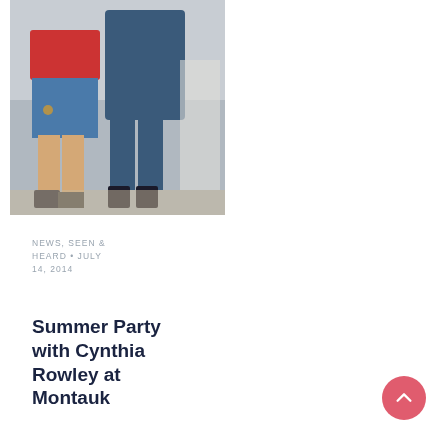[Figure (photo): Two women standing outdoors at a summer party. One wears a floral/patterned top with denim shorts, the other wears a denim jumpsuit. Sandy ground visible. Feet and lower bodies visible. Warm outdoor lighting.]
NEWS, SEEN & HEARD • JULY 14, 2014
Summer Party with Cynthia Rowley at Montauk